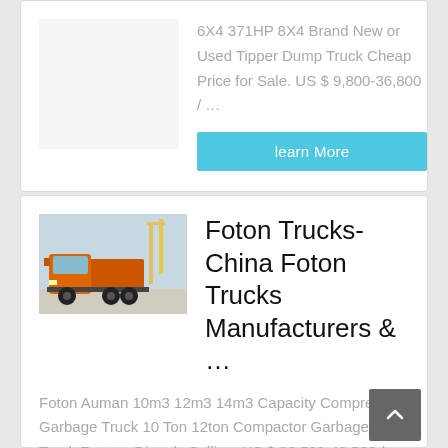6X4 371HP 8X4 Brand New or Used Tipper Dump Truck Cheap Price for Sale. US $ 9,800-36,800 / …
learn More
[Figure (photo): Orange Foton truck tractor head parked in a lot with cranes/equipment in background]
Foton Trucks-China Foton Trucks Manufacturers & …
Foton Auman 10m3 12m3 14m3 Capacity Compressed Garbage Truck 10 Ton 12ton Compactor Garbage Truck Factory Directly Selling. US $ 33,500-43,500 / UNIT FOB. MOQ: 1 UNIT. Since 2021. Main Products